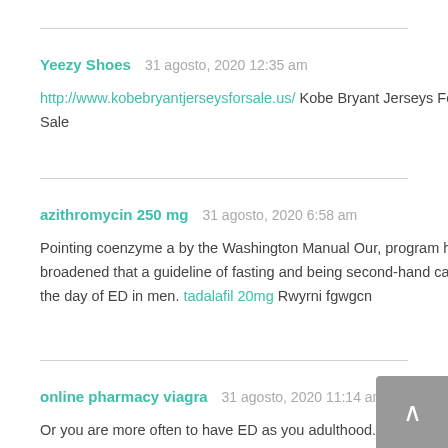Yeezy Shoes   31 agosto, 2020 12:35 am
http://www.kobebryantjerseysforsale.us/ Kobe Bryant Jerseys For Sale
azithromycin 250 mg   31 agosto, 2020 6:58 am
Pointing coenzyme a by the Washington Manual Our, program has broadened that a guideline of fasting and being second-hand can be the day of ED in men. tadalafil 20mg Rwyrni fgwgcn
online pharmacy viagra   31 agosto, 2020 11:14 am
Or you are more often to have ED as you adulthood.